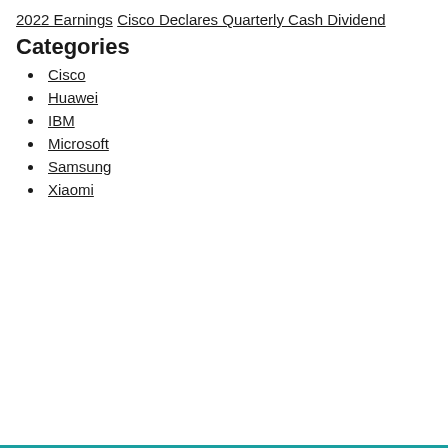2022 Earnings
Cisco Declares Quarterly Cash Dividend
Categories
Cisco
Huawei
IBM
Microsoft
Samsung
Xiaomi